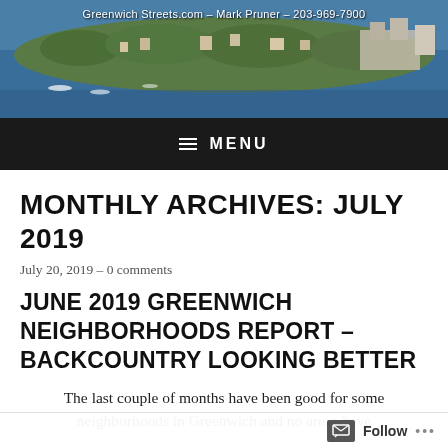[Figure (photo): Aerial photograph of a coastal Greenwich neighborhood with water, boats, and tree-lined houses. Overlaid text reads: Greenwich Streets.com - Mark Pruner - 203-969-7900]
☰ MENU
MONTHLY ARCHIVES: JULY 2019
July 20, 2019 – 0 comments
JUNE 2019 GREENWICH NEIGHBORHOODS REPORT – BACKCOUNTRY LOOKING BETTER
The last couple of months have been good for some neighborhoods in Greenwich and no areas have